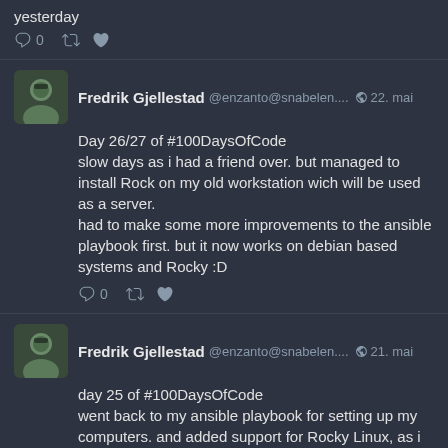yesterday
0
Fredrik Gjellestad @enzanto@snabelen.... 22. mai
Day 26/27 of #100DaysOfCode
slow days as i had a friend over. but managed to install Rock on my old workstation wich will be used as a server.
had to make some more improvements to the ansible playbook first. but it now works on debian based systems and Rocky :D
0
Fredrik Gjellestad @enzanto@snabelen.... 21. mai
day 25 of #100DaysOfCode
went back to my ansible playbook for setting up my computers. and added support for Rocky Linux, as i intend to swap to that on my servers. tested in virtualbox and looks good. next up us installing Rocky on physical machine!